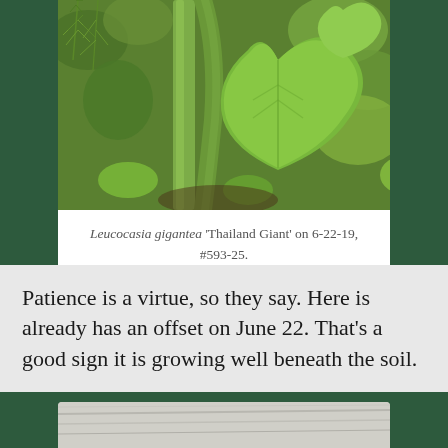[Figure (photo): Close-up photograph of Leucocasia gigantea 'Thailand Giant' plant showing large green heart-shaped leaf and thick green stem, with feathery dill-like foliage in background and other green plants]
Leucocasia gigantea 'Thailand Giant' on 6-22-19, #593-25.
Patience is a virtue, so they say. Here is already has an offset on June 22. That's a good sign it is growing well beneath the soil.
[Figure (photo): Partial view of another plant photograph, showing pale/white plant material at bottom of page]